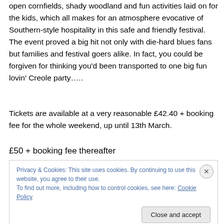open cornfields, shady woodland and fun activities laid on for the kids, which all makes for an atmosphere evocative of Southern-style hospitality in this safe and friendly festival. The event proved a big hit not only with die-hard blues fans but families and festival goers alike. In fact, you could be forgiven for thinking you'd been transported to one big fun lovin' Creole party…..
Tickets are available at a very reasonable £42.40 + booking fee for the whole weekend, up until 13th March.
£50 + booking fee thereafter
Privacy & Cookies: This site uses cookies. By continuing to use this website, you agree to their use.
To find out more, including how to control cookies, see here: Cookie Policy